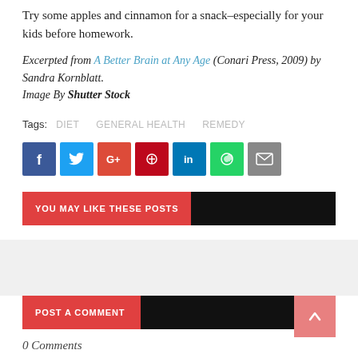Try some apples and cinnamon for a snack–especially for your kids before homework.
Excerpted from A Better Brain at Any Age (Conari Press, 2009) by Sandra Kornblatt.
Image By Shutter Stock
Tags: DIET  GENERAL HEALTH  REMEDY
[Figure (infographic): Social share buttons: Facebook, Twitter, Google+, Pinterest, LinkedIn, WhatsApp, Email]
YOU MAY LIKE THESE POSTS
POST A COMMENT
0 Comments